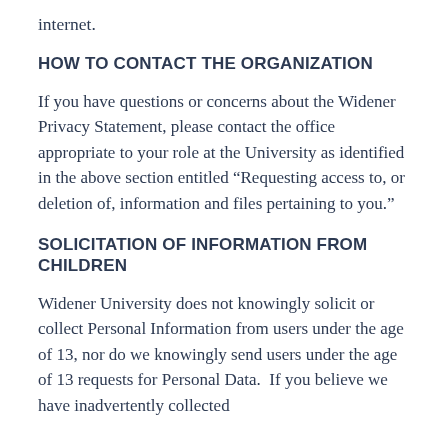internet.
HOW TO CONTACT THE ORGANIZATION
If you have questions or concerns about the Widener Privacy Statement, please contact the office appropriate to your role at the University as identified in the above section entitled “Requesting access to, or deletion of, information and files pertaining to you.”
SOLICITATION OF INFORMATION FROM CHILDREN
Widener University does not knowingly solicit or collect Personal Information from users under the age of 13, nor do we knowingly send users under the age of 13 requests for Personal Data.  If you believe we have inadvertently collected